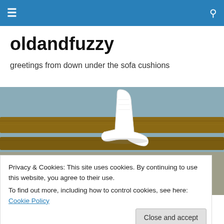≡  🔍
oldandfuzzy
greetings from down under the sofa cushions
[Figure (photo): White sock draped over a wooden beam with gravel ground below]
Privacy & Cookies: This site uses cookies. By continuing to use this website, you agree to their use.
To find out more, including how to control cookies, see here: Cookie Policy
[Close and accept]
So, I got a new job